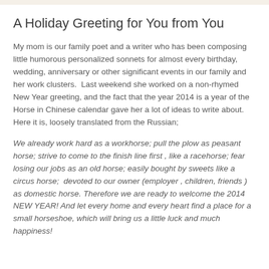A Holiday Greeting for You from You
My mom is our family poet and a writer who has been composing little humorous personalized sonnets for almost every birthday, wedding, anniversary or other significant events in our family and her work clusters.  Last weekend she worked on a non-rhymed New Year greeting, and the fact that the year 2014 is a year of the Horse in Chinese calendar gave her a lot of ideas to write about. Here it is, loosely translated from the Russian;
We already work hard as a workhorse; pull the plow as peasant horse; strive to come to the finish line first , like a racehorse; fear losing our jobs as an old horse; easily bought by sweets like a circus horse;  devoted to our owner (employer , children, friends ) as domestic horse. Therefore we are ready to welcome the 2014 NEW YEAR! And let every home and every heart find a place for a small horseshoe, which will bring us a little luck and much happiness!